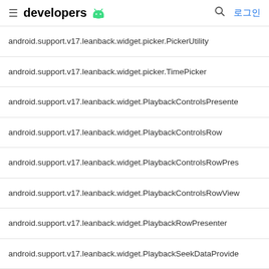developers (Android logo) 🔍 로그인
android.support.v17.leanback.widget.picker.PickerUtility
android.support.v17.leanback.widget.picker.TimePicker
android.support.v17.leanback.widget.PlaybackControlsPresenter
android.support.v17.leanback.widget.PlaybackControlsRow
android.support.v17.leanback.widget.PlaybackControlsRowPresenter
android.support.v17.leanback.widget.PlaybackControlsRowView
android.support.v17.leanback.widget.PlaybackRowPresenter
android.support.v17.leanback.widget.PlaybackSeekDataProvider